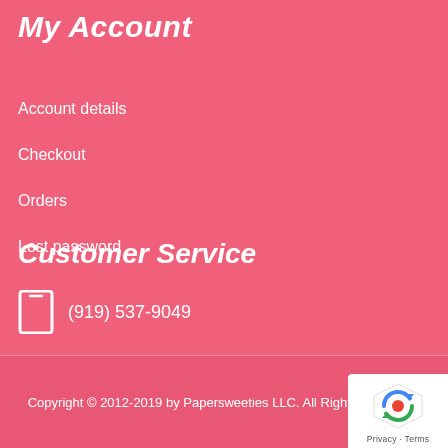My Account
Account details
Checkout
Orders
Lost password
Customer Service
(919) 537-9049
Copyright © 2012-2019 by Papersweeties LLC. All Rights Reserved.